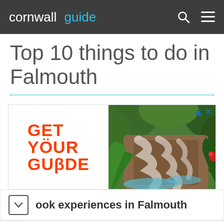cornwall guide
Top 10 things to do in Falmouth
[Figure (screenshot): GetYourGuide advertisement banner with logo on left and waterfall/jungle photo on right]
ook experiences in Falmouth
[Figure (screenshot): PUMA Fastest Pack advertisement with PUMA logo, text, and Shop Now button]